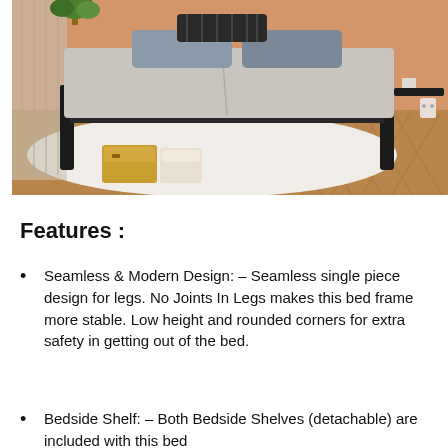[Figure (photo): A modern low-profile bed frame with dark wooden legs, light grey mattress/sheet, white rug on herringbone wood floor, warm orange wall, plants and a small bedside shelf visible.]
Features :
Seamless & Modern Design: – Seamless single piece design for legs. No Joints In Legs makes this bed frame more stable. Low height and rounded corners for extra safety in getting out of the bed.
Bedside Shelf: – Both Bedside Shelves (detachable) are included with this bed